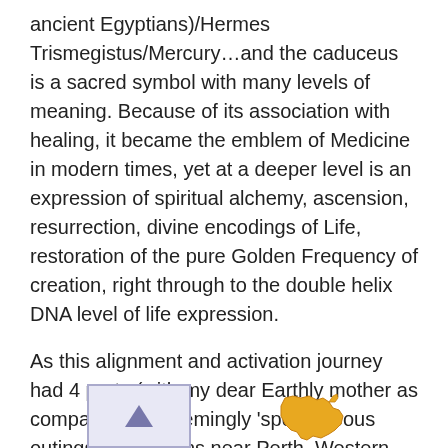ancient Egyptians)/Hermes Trismegistus/Mercury…and the caduceus is a sacred symbol with many levels of meaning. Because of its association with healing, it became the emblem of Medicine in modern times, yet at a deeper level is an expression of spiritual alchemy, ascension, resurrection, divine encodings of Life, restoration of the pure Golden Frequency of creation, right through to the double helix DNA level of life expression.
As this alignment and activation journey had 4 parts (with my dear Earthly mother as companion on seemingly 'spontaneous outings' to locations near Perth, Western Australia), we'll put this in the form of 4 sections, so you can follow the unfolding thread. Here's a map for reference.
[Figure (map): Two map images at the bottom of the page: a small rectangular map box on the left with an arrow/marker symbol, and a yellow-orange silhouette of Australia on the right.]